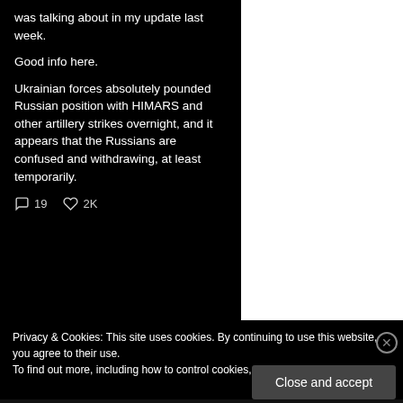was talking about in my update last week.
Good info here.
Ukrainian forces absolutely pounded Russian position with HIMARS and other artillery strikes overnight, and it appears that the Russians are confused and withdrawing, at least temporarily.
19  2K
Privacy & Cookies: This site uses cookies. By continuing to use this website, you agree to their use.
To find out more, including how to control cookies, see here: Cookie Policy
Close and accept